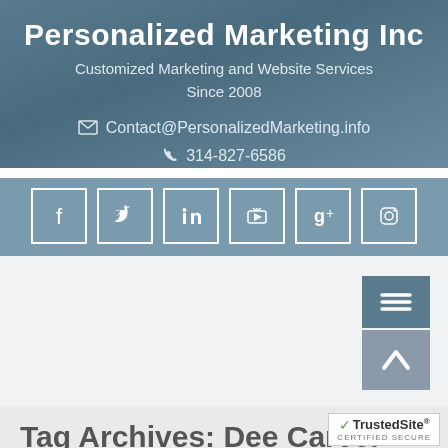Personalized Marketing Inc
Customized Marketing and Website Services Since 2008
Contact@PersonalizedMarketing.info  314-827-6586
[Figure (infographic): Six social media icon buttons in white-bordered squares: Facebook, Twitter, LinkedIn, YouTube, Google+, Instagram]
[Figure (infographic): Hamburger menu button (steel blue) and back-to-top arrow button (gray) stacked vertically on the right side]
Tag Archives: Dee Carver
[Figure (logo): TrustedSite certified secure badge with checkmark]